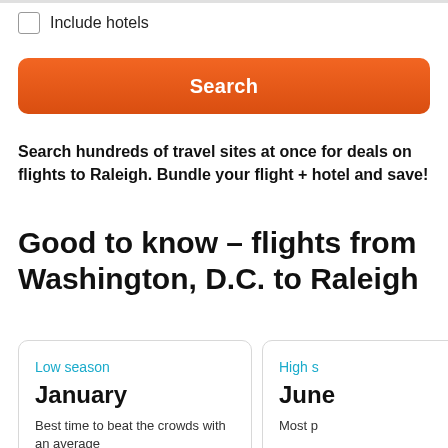Include hotels
Search
Search hundreds of travel sites at once for deals on flights to Raleigh. Bundle your flight + hotel and save!
Good to know - flights from Washington, D.C. to Raleigh
Low season
January
Best time to beat the crowds with an average
High s
June
Most p